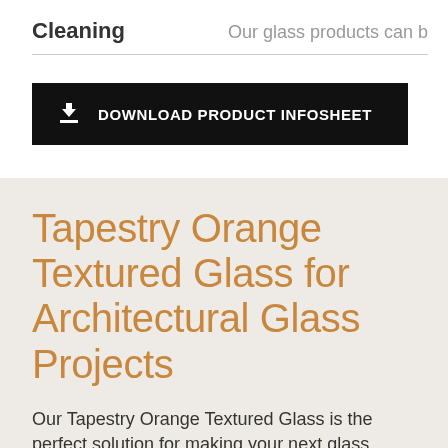Cleaning    Our glass products can b
[Figure (other): Download button: black rectangle with download icon and text 'DOWNLOAD PRODUCT INFOSHEET']
Tapestry Orange Textured Glass for Architectural Glass Projects
Our Tapestry Orange Textured Glass is the perfect solution for making your next glass